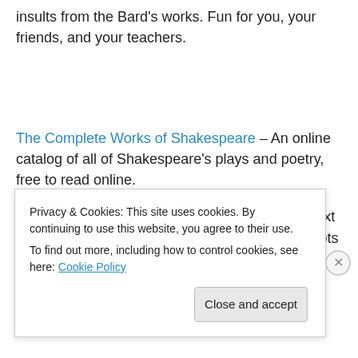insults from the Bard's works. Fun for you, your friends, and your teachers.
The Complete Works of Shakespeare – An online catalog of all of Shakespeare's plays and poetry, free to read online.
The Jane Austen info page – Contains a hypertext version of Pride And Prejudice, as well as excerpts from Austen's
Privacy & Cookies: This site uses cookies. By continuing to use this website, you agree to their use. To find out more, including how to control cookies, see here: Cookie Policy